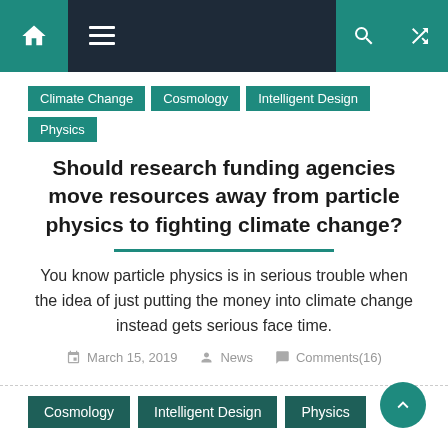[Figure (screenshot): Navigation bar with home icon, hamburger menu on dark background, and teal search and shuffle icons on the right]
Climate Change
Cosmology
Intelligent Design
Physics
Should research funding agencies move resources away from particle physics to fighting climate change?
You know particle physics is in serious trouble when the idea of just putting the money into climate change instead gets serious face time.
March 15, 2019   News   Comments(16)
Cosmology
Intelligent Design
Physics